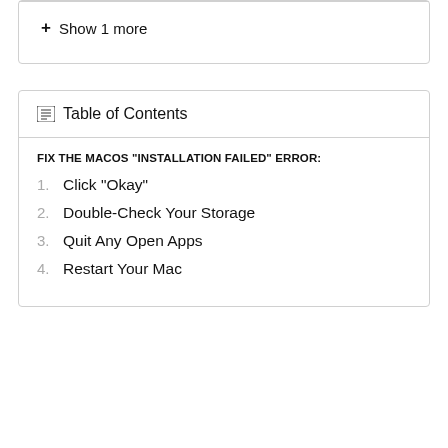+ Show 1 more
Table of Contents
FIX THE MACOS "INSTALLATION FAILED" ERROR:
1. Click "Okay"
2. Double-Check Your Storage
3. Quit Any Open Apps
4. Restart Your Mac